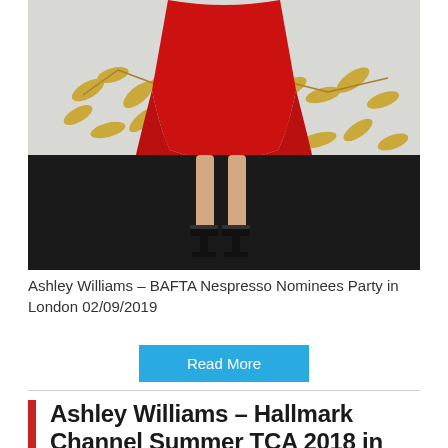[Figure (photo): Photo of Ashley Williams wearing a red dress and black strappy heels, standing in front of a white wall with golden leaf decorations. The lower half of her body is shown.]
Ashley Williams – BAFTA Nespresso Nominees Party in London 02/09/2019
Read More
Ashley Williams – Hallmark Channel Summer TCA 2018 in Beverly Hills